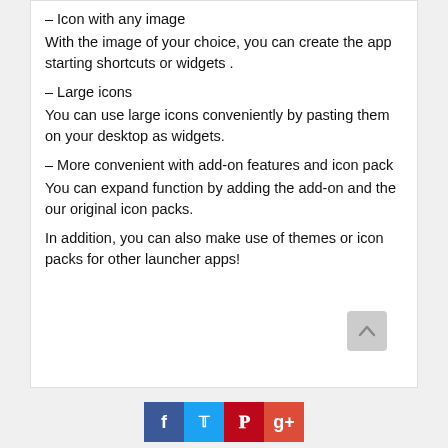– Icon with any image
With the image of your choice, you can create the app starting shortcuts or widgets .
– Large icons
You can use large icons conveniently by pasting them on your desktop as widgets.
– More convenient with add-on features and icon pack
You can expand function by adding the add-on and the our original icon packs.
In addition, you can also make use of themes or icon packs for other launcher apps!
Social share buttons: Facebook, Twitter, Pinterest, Google+